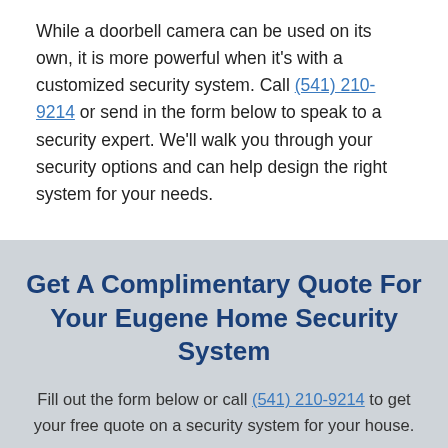While a doorbell camera can be used on its own, it is more powerful when it's with a customized security system. Call (541) 210-9214 or send in the form below to speak to a security expert. We'll walk you through your security options and can help design the right system for your needs.
Get A Complimentary Quote For Your Eugene Home Security System
Fill out the form below or call (541) 210-9214 to get your free quote on a security system for your house.